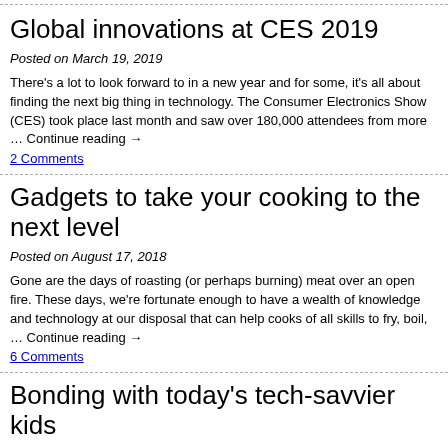Global innovations at CES 2019
Posted on March 19, 2019
There's a lot to look forward to in a new year and for some, it's all about finding the next big thing in technology. The Consumer Electronics Show (CES) took place last month and saw over 180,000 attendees from more … Continue reading →
2 Comments
Gadgets to take your cooking to the next level
Posted on August 17, 2018
Gone are the days of roasting (or perhaps burning) meat over an open fire. These days, we're fortunate enough to have a wealth of knowledge and technology at our disposal that can help cooks of all skills to fry, boil, … Continue reading →
6 Comments
Bonding with today's tech-savvier kids
Posted on April 23, 2018
Back when I was in high school taking Information